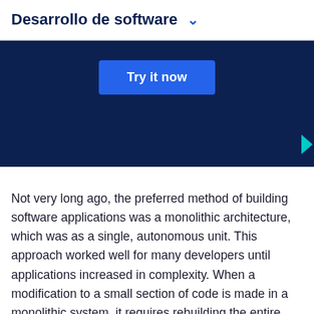Desarrollo de software
[Figure (screenshot): Dark navy banner with a blue 'Try it now' button centered, and a teal arrow on the right edge]
Not very long ago, the preferred method of building software applications was a monolithic architecture, which was as a single, autonomous unit. This approach worked well for many developers until applications increased in complexity. When a modification to a small section of code is made in a monolithic system, it requires rebuilding the entire system, running tests on the entire system, and